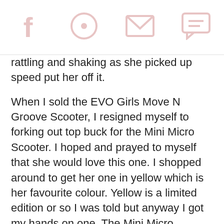[social share icons: Facebook, Pinterest, Email, Chat]
rattling and shaking as she picked up speed put her off it.
When I sold the EVO Girls Move N Groove Scooter, I resigned myself to forking out top buck for the Mini Micro Scooter. I hoped and prayed to myself that she would love this one. I shopped around to get her one in yellow which is her favourite colour. Yellow is a limited edition or so I was told but anyway I got my hands on one. The Mini Micro Scooter is in a league of its own. It is sturdy and made out of high quality materials. The wheels are made of silicone so they are silent on the pavement so there is no rattling going on. Smooth whizzing. My daughter was in love. She felt safe on this scooter and was picking up speed on it. Her calculations were accurate though and she wasn't toppling or falling. This was by far the easiest scooter to ride and keep her balance on. No wonder it won Toy of the Year award in the UK. Pushing along the child on the scooter is really easy too so when they get tired its easy for them to